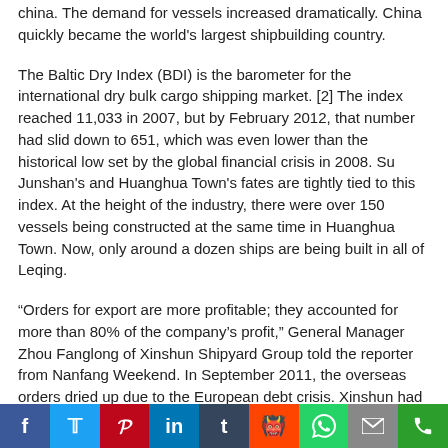china. The demand for vessels increased dramatically. China quickly became the world's largest shipbuilding country.
The Baltic Dry Index (BDI) is the barometer for the international dry bulk cargo shipping market. [2] The index reached 11,033 in 2007, but by February 2012, that number had slid down to 651, which was even lower than the historical low set by the global financial crisis in 2008. Su Junshan's and Huanghua Town's fates are tightly tied to this index. At the height of the industry, there were over 150 vessels being constructed at the same time in Huanghua Town. Now, only around a dozen ships are being built in all of Leqing.
“Orders for export are more profitable; they accounted for more than 80% of the company’s profit,” General Manager Zhou Fanglong of Xinshun Shipyard Group told the reporter from Nanfang Weekend. In September 2011, the overseas orders dried up due to the European debt crisis. Xinshun had no choice but to accept the domestic order for three ships. “We have to put 20% of the equity investment into each ship. In the end, instead of making money, we have to spend our own money (to keep this business afloat).
Why do they want to accept this business even though they are losing money? “To keep the workers,” said Zhou. “Many shipyards cannot even
f  t  p  in  t  S  (whatsapp)  (mail)  (phone)